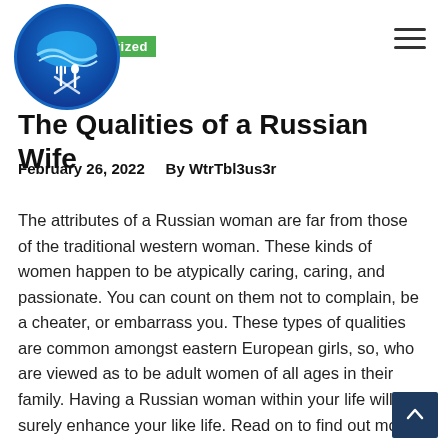[Figure (logo): Circular blue logo with wave and fork/spoon icon, with green 'Categorized' label overlay]
The Qualities of a Russian Wife
February 26, 2022    By WtrTbl3us3r
The attributes of a Russian woman are far from those of the traditional western woman. These kinds of women happen to be atypically caring, caring, and passionate. You can count on them not to complain, be a cheater, or embarrass you. These types of qualities are common amongst eastern European girls, so, who are viewed as to be adult women of all ages in their family. Having a Russian woman within your life will surely enhance your like life. Read on to find out more